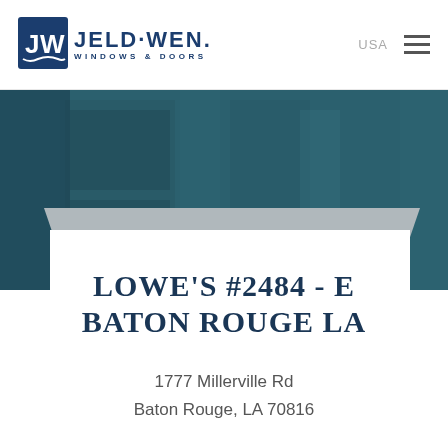[Figure (logo): JELD-WEN Windows & Doors logo with JW box icon in dark navy blue]
USA
[Figure (photo): Hero banner image with teal/dark blue background showing blurred window/door panels]
LOWE'S #2484 - E BATON ROUGE LA
1777 Millerville Rd
Baton Rouge, LA 70816